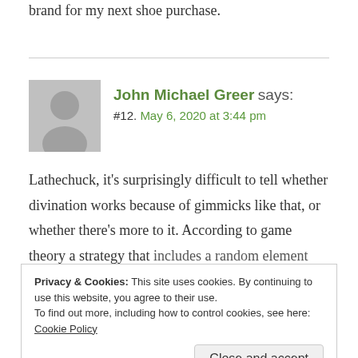brand for my next shoe purchase.
John Michael Greer says:
#12. May 6, 2020 at 3:44 pm
Lathechuck, it's surprisingly difficult to tell whether divination works because of gimmicks like that, or whether there's more to it. According to game theory a strategy that includes a random element will be more successful than
Privacy & Cookies: This site uses cookies. By continuing to use this website, you agree to their use.
To find out more, including how to control cookies, see here: Cookie Policy
Close and accept
needs to do may also be something like that. On the other